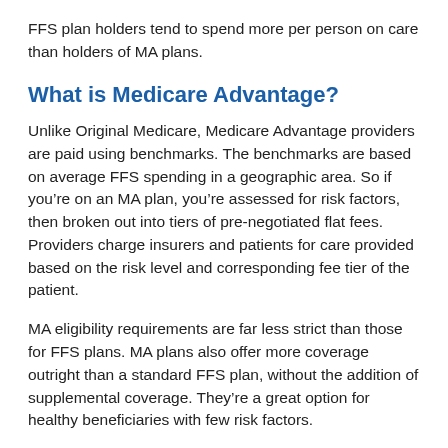FFS plan holders tend to spend more per person on care than holders of MA plans.
What is Medicare Advantage?
Unlike Original Medicare, Medicare Advantage providers are paid using benchmarks. The benchmarks are based on average FFS spending in a geographic area. So if you’re on an MA plan, you’re assessed for risk factors, then broken out into tiers of pre-negotiated flat fees. Providers charge insurers and patients for care provided based on the risk level and corresponding fee tier of the patient.
MA eligibility requirements are far less strict than those for FFS plans. MA plans also offer more coverage outright than a standard FFS plan, without the addition of supplemental coverage. They’re a great option for healthy beneficiaries with few risk factors.
Medicare Advantage patients usually spend less money